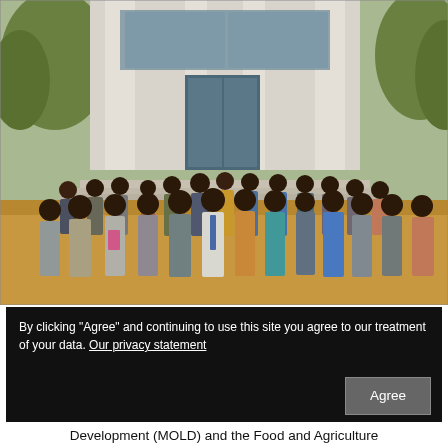[Figure (photo): Group photo of approximately 25 people standing in rows in front of a building with columns and glass doors/windows. The people are dressed in professional attire. The setting appears to be outdoors on steps/pavement in an African country.]
By clicking "Agree" and continuing to use this site you agree to our treatment of your data. Our privacy statement
Development (MOLD) and the Food and Agriculture